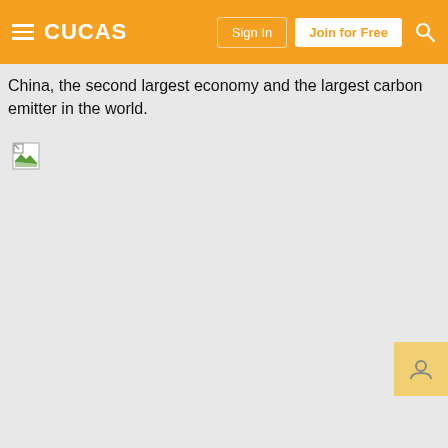CUCAS | Sign In | Join for Free
China, the second largest economy and the largest carbon emitter in the world.
[Figure (photo): Image placeholder (broken image icon) — appears to be a photo related to China or energy/carbon emissions topics, not loaded.]